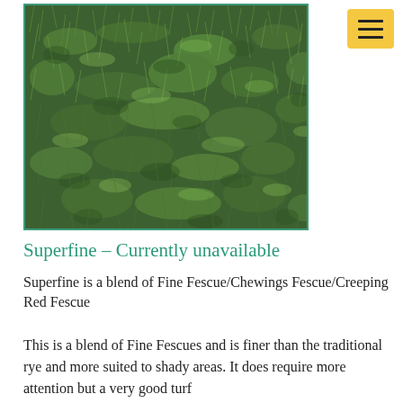[Figure (photo): Close-up photograph of fine green grass turf (Fine Fescue/Chewings Fescue/Creeping Red Fescue blend), showing dense, fine-textured grass blades in various shades of green, with a teal/green border around the image.]
Superfine – Currently unavailable
Superfine is a blend of Fine Fescue/Chewings Fescue/Creeping Red Fescue
This is a blend of Fine Fescues and is finer than the traditional rye and more suited to shady areas. It does require more attention but a very good turf